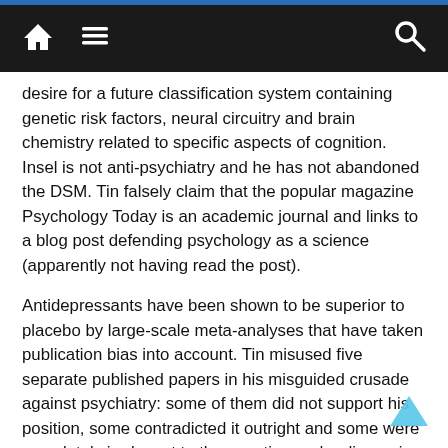Navigation bar with home, menu, and search icons
desire for a future classification system containing genetic risk factors, neural circuitry and brain chemistry related to specific aspects of cognition. Insel is not anti-psychiatry and he has not abandoned the DSM. Tin falsely claim that the popular magazine Psychology Today is an academic journal and links to a blog post defending psychology as a science (apparently not having read the post).
Antidepressants have been shown to be superior to placebo by large-scale meta-analyses that have taken publication bias into account. Tin misused five separate published papers in his misguided crusade against psychiatry: some of them did not support his position, some contradicted it outright and some were completely irrelevant to the question under discussion. He also falsely claim that the ICD does not have an ADHD diagnosis (it does) and that ADHD does not...